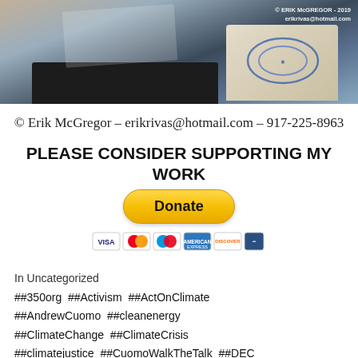[Figure (photo): Photograph of a desk with printed activist/union materials on fabric tote bags with blue decorative designs, on a dark table. Watermark reads: © ERIK McGREGOR - 2019 erikrivas@hotmail.com]
© Erik McGregor – erikrivas@hotmail.com – 917-225-8963
PLEASE CONSIDER SUPPORTING MY WORK
[Figure (other): PayPal Donate button (yellow rounded button) with payment card icons below (Visa, Mastercard, Maestro, Amex, Discover, and one more)]
In Uncategorized
##350org  ##Activism  ##ActOnClimate  ##AndrewCuomo  ##cleanenergy  ##ClimateChange  ##ClimateCrisis  ##climatejustice  ##CuomoWalkTheTalk  ##DEC  ##DirectAction  ##Elmira  ##EnergyDemocracy  ##energyefficiency  ##EnergyIndependence  ##environment  ##ErikMcGregor  ##FERC